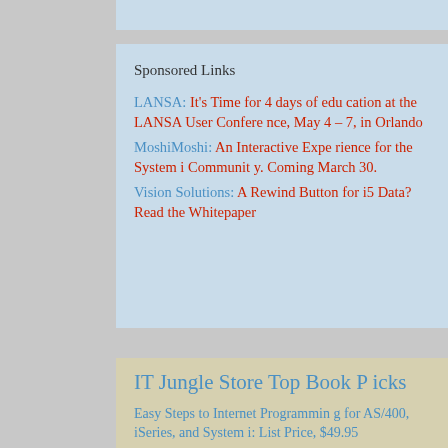Sponsored Links
LANSA:  It's Time for 4 days of education at the LANSA User Conference, May 4 – 7, in Orlando
MoshiMoshi:  An Interactive Experience for the System i Community. Coming March 30.
Vision Solutions:  A Rewind Button for i5 Data? Read the Whitepaper
IT Jungle Store Top Book Picks
Easy Steps to Internet Programming for AS/400, iSeries, and System i: List Price, $49.95